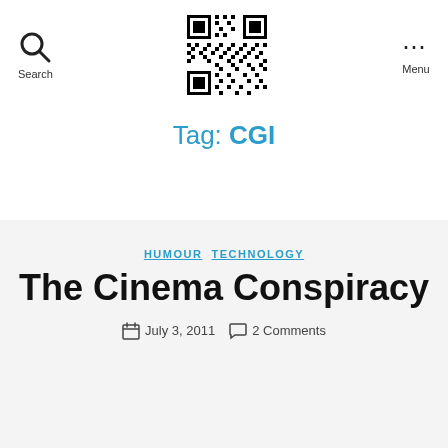Search | [QR code] | Menu
Tag: CGI
HUMOUR  TECHNOLOGY
The Cinema Conspiracy
July 3, 2011   2 Comments